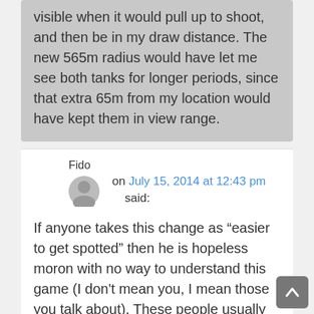visible when it would pull up to shoot, and then be in my draw distance. The new 565m radius would have let me see both tanks for longer periods, since that extra 65m from my location would have kept them in view range.
Fido
on July 15, 2014 at 12:43 pm said:
If anyone takes this change as "easier to get spotted" then he is hopeless moron with no way to understand this game (I don't mean you, I mean those you talk about). These people usually